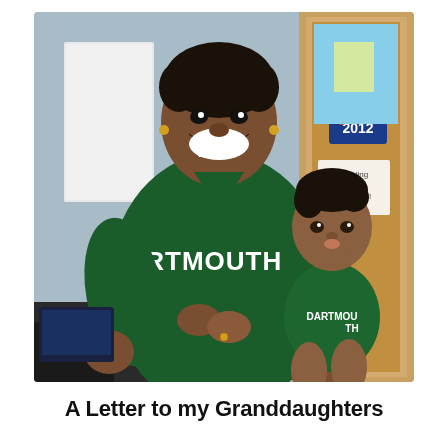[Figure (photo): A smiling woman wearing a dark green Dartmouth sweatshirt holds a baby also dressed in a green Dartmouth onesie/outfit. In the background is a door with a '2012' campaign sign and a 'Meeting in Progress' sign. The setting appears to be an office.]
A Letter to my Granddaughters